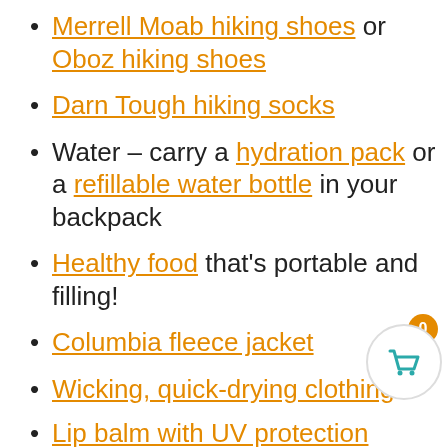Merrell Moab hiking shoes or Oboz hiking shoes
Darn Tough hiking socks
Water – carry a hydration pack or a refillable water bottle in your backpack
Healthy food that's portable and filling!
Columbia fleece jacket
Wicking, quick-drying clothing
Lip balm with UV protection